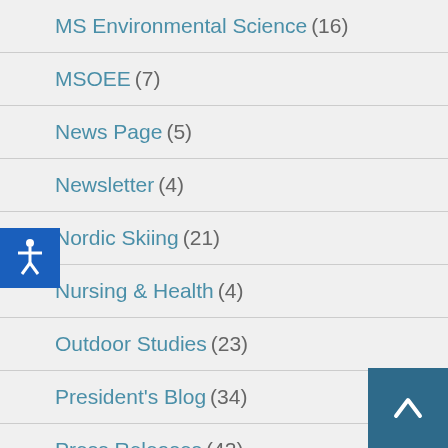MS Environmental Science (16)
MSOEE (7)
News Page (5)
Newsletter (4)
Nordic Skiing (21)
Nursing & Health (4)
Outdoor Studies (23)
President's Blog (34)
Press Releases (42)